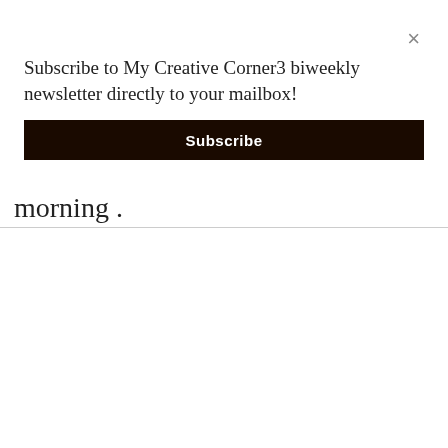×
Subscribe to My Creative Corner3 biweekly newsletter directly to your mailbox!
Subscribe
morning .